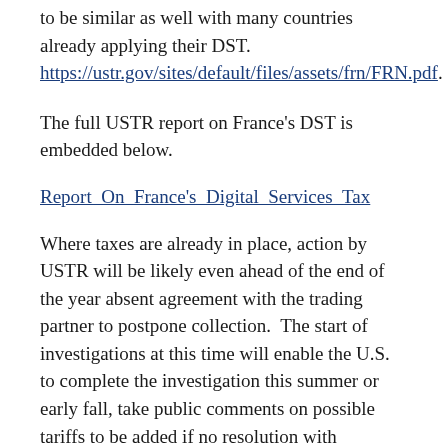to be similar as well with many countries already applying their DST. https://ustr.gov/sites/default/files/assets/frn/FRN.pdf.
The full USTR report on France's DST is embedded below.
Report_On_France's_Digital_Services_Tax
Where taxes are already in place, action by USTR will be likely even ahead of the end of the year absent agreement with the trading partner to postpone collection.  The start of investigations at this time will enable the U.S. to complete the investigation this summer or early fall, take public comments on possible tariffs to be added if no resolution with individual countries or the EU is possible.  More specifically, the U.S. will have handled domestic legal requirements to act if other DSTs go into effect without an OECD